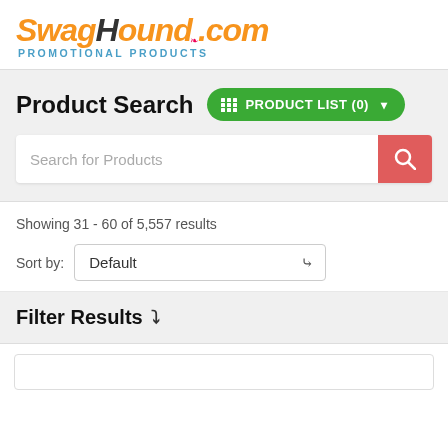[Figure (logo): SwagHound.com Promotional Products logo — 'Swag' in orange italic bold, 'Hound' in dark italic bold, '.com' in orange italic bold, with a small red paw print, and 'PROMOTIONAL PRODUCTS' in blue capitals below]
Product Search
PRODUCT LIST (0)
Search for Products
Showing 31 - 60 of 5,557 results
Sort by: Default
Filter Results